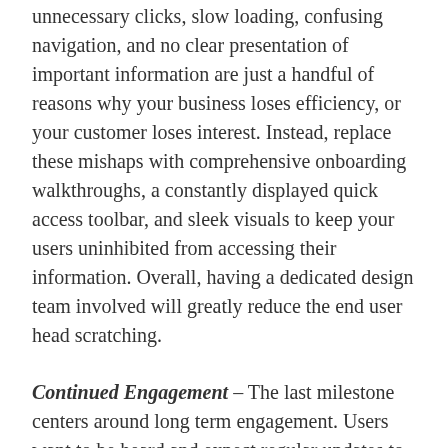unnecessary clicks, slow loading, confusing navigation, and no clear presentation of important information are just a handful of reasons why your business loses efficiency, or your customer loses interest. Instead, replace these mishaps with comprehensive onboarding walkthroughs, a constantly displayed quick access toolbar, and sleek visuals to keep your users uninhibited from accessing their information. Overall, having a dedicated design team involved will greatly reduce the end user head scratching.
Continued Engagement – The last milestone centers around long term engagement. Users want to be heard and expect regular updates to their applications. If a user base feels consistently excluded from fixes and new features, their application use will dwindle and engagement with the program will drop. Mobility programs thrive when ideas are